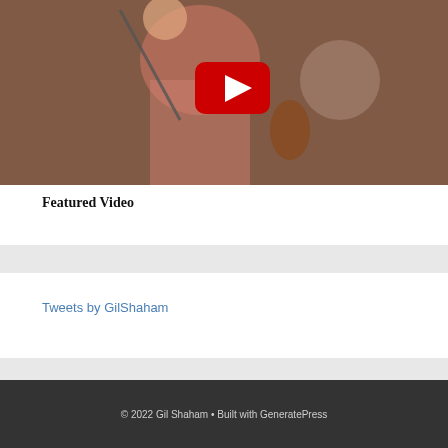[Figure (screenshot): Video thumbnail showing a violinist in a red/pink shirt playing violin with other musicians in background, with a YouTube play button overlay in the center]
Featured Video
Tweets by GilShaham
© 2022 Gil Shaham • Built with GeneratePress